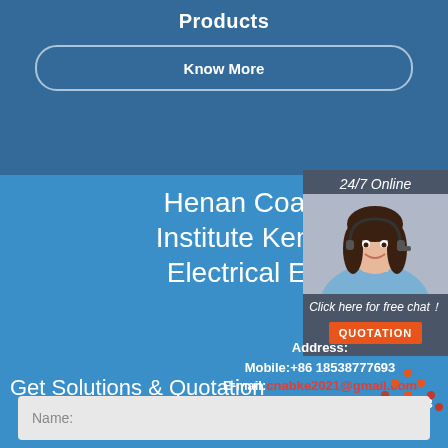Products
Know More
Henan Coal Science Research Institute Keming Mechanical Electrical Equipment Co.
Address:
Mobile:+86 18538777693
E-mail:cnabke2021@gmail.com
WeChat/WhatsApp:+86 18538777693
[Figure (photo): 24/7 Online chat widget with female customer service agent photo, 'Click here for free chat!' text, and QUOTATION button]
Get Solutions & Quotation
[Figure (logo): TOP logo in orange and red triangular design]
Name: